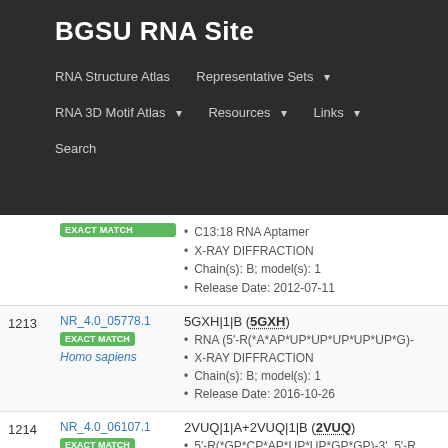BGSU RNA Site
RNA Structure Atlas
Representative Sets
RNA 3D Motif Atlas
Resources
Links
Search
| # | ID | Info |
| --- | --- | --- |
|  | EXACT MATCH | C13:18 RNA Aptamer
X-RAY DIFFRACTION
Chain(s): B; model(s): 1
Release Date: 2012-07-11 |
| 1213 | NR_4.0_05778.1
EXACT MATCH
Homo sapiens | 5GXH|1|B (5GXH)
RNA (5'-R(*A*AP*UP*UP*UP*UP*UP*G)-
X-RAY DIFFRACTION
Chain(s): B; model(s): 1
Release Date: 2016-10-26 |
| 1214 | NR_4.0_06107.1
EXACT MATCH
Homo sapiens | 2VUQ|1|A+2VUQ|1|B (2VUQ)
5'-R(*GP*CP*AP*UP*UP*GP*GP)-3', 5'-R
X-RAY DIFFRACTION
Chain(s): A, B, C, D, F, H; model(s): 1 |